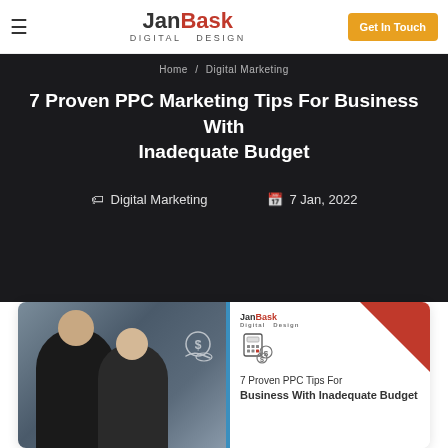JanBask Digital Design | Get In Touch
Home / Digital Marketing
7 Proven PPC Marketing Tips For Business With Inadequate Budget
Digital Marketing   7 Jan, 2022
[Figure (photo): JanBask Digital Design article hero image showing two business professionals in a meeting, with a budget/calculator icon and text: 7 Proven PPC Tips For Business With Inadequate Budget]